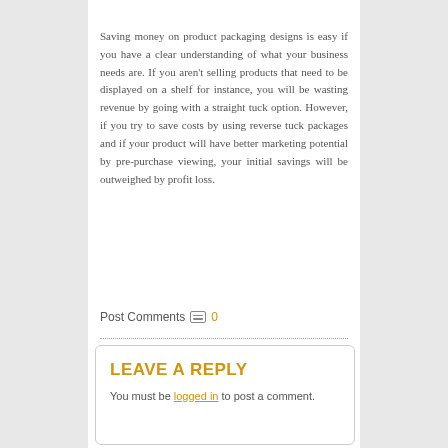Saving money on product packaging designs is easy if you have a clear understanding of what your business needs are. If you aren't selling products that need to be displayed on a shelf for instance, you will be wasting revenue by going with a straight tuck option. However, if you try to save costs by using reverse tuck packages and if your product will have better marketing potential by pre-purchase viewing, your initial savings will be outweighed by profit loss.
Post Comments 0
LEAVE A REPLY
You must be logged in to post a comment.